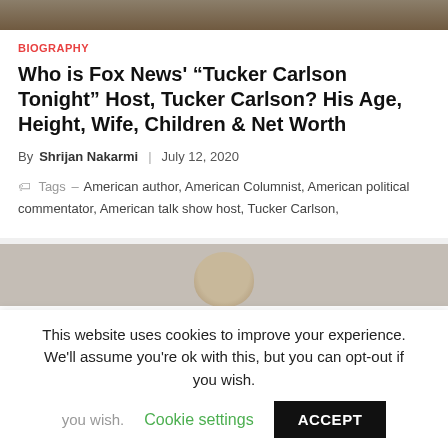[Figure (photo): Top portion of a photo showing Tucker Carlson in a tweed jacket, cropped at the bottom]
BIOGRAPHY
Who is Fox News' “Tucker Carlson Tonight” Host, Tucker Carlson? His Age, Height, Wife, Children & Net Worth
By Shrijan Nakarmi | July 12, 2020
Tags - American author, American Columnist, American political commentator, American talk show host, Tucker Carlson,
[Figure (photo): Bottom portion of a photo showing top of a person's head with gray/brown hair]
This website uses cookies to improve your experience. We'll assume you're ok with this, but you can opt-out if you wish. Cookie settings ACCEPT